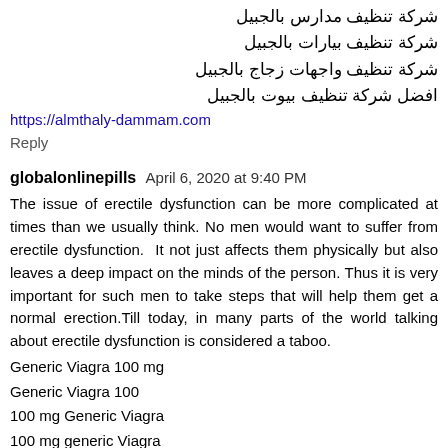شركة تنظيف مدارس بالجبيل
شركة تنظيف بيارات بالجبيل
شركة تنظيف واجهات زجاج بالجبيل
افضل شركة تنظيف بيوت بالجبيل
https://almthaly-dammam.com
Reply
globalonlinepills  April 6, 2020 at 9:40 PM
The issue of erectile dysfunction can be more complicated at times than we usually think. No men would want to suffer from erectile dysfunction. It not just affects them physically but also leaves a deep impact on the minds of the person. Thus it is very important for such men to take steps that will help them get a normal erection.Till today, in many parts of the world talking about erectile dysfunction is considered a taboo.
Generic Viagra 100 mg
Generic Viagra 100
100 mg Generic Viagra
100 mg generic Viagra